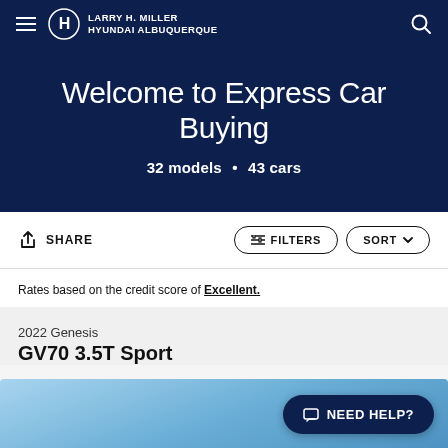Larry H. Miller Hyundai Albuquerque
Welcome to Express Car Buying
32 models • 43 cars
SHARE | FILTERS | SORT
Rates based on the credit score of Excellent.
2022 Genesis
GV70 3.5T Sport
[Figure (photo): Sky blue background, partial view of car listing image]
NEED HELP?